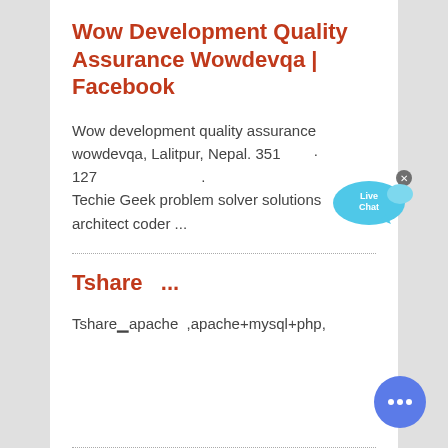Wow Development Quality Assurance Wowdevqa | Facebook
Wow development quality assurance wowdevqa, Lalitpur, Nepal. 351 · 127 .
Techie Geek problem solver solutions architect coder ...
Tshare   ...
Tshare▁apache  ,apache+mysql+php,
[Figure (other): Live Chat speech bubble widget in cyan/blue color with 'Live Chat' text, with an X close button]
[Figure (other): Round blue chat button with three white dots (messaging icon)]